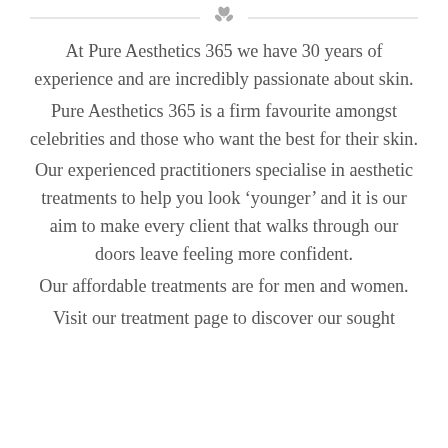decorative divider with leaf icon
At Pure Aesthetics 365 we have 30 years of experience and are incredibly passionate about skin.
Pure Aesthetics 365 is a firm favourite amongst celebrities and those who want the best for their skin.
Our experienced practitioners specialise in aesthetic treatments to help you look ‘younger’ and it is our aim to make every client that walks through our doors leave feeling more confident.
Our affordable treatments are for men and women.
Visit our treatment page to discover our sought